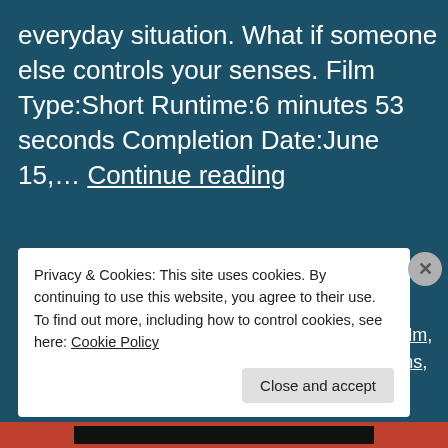everyday situation. What if someone else controls your senses. Film Type:Short Runtime:6 minutes 53 seconds Completion Date:June 15,… Continue reading
Published February 1, 2017
Categorized as fantasy movies, sci-fi film, short film, short film festival, Uncategorized, watch short films, wildsound festival review, writing festival
Privacy & Cookies: This site uses cookies. By continuing to use this website, you agree to their use.
To find out more, including how to control cookies, see here: Cookie Policy
Close and accept